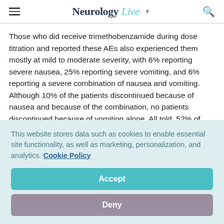NeurologyLive
Those who did receive trimethobenzamide during dose titration and reported these AEs also experienced them mostly at mild to moderate severity, with 6% reporting severe nausea, 25% reporting severe vomiting, and 6% reporting a severe combination of nausea and vomiting. Although 10% of the patients discontinued because of nausea and because of the combination, no patients discontinued because of vomiting alone. All told, 52% of these individuals reported
This website stores data such as cookies to enable essential site functionality, as well as marketing, personalization, and analytics. Cookie Policy
Accept
Deny